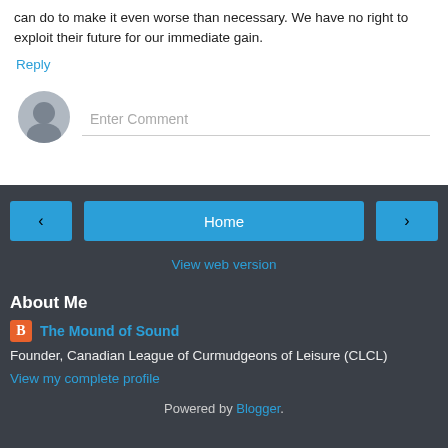can do to make it even worse than necessary. We have no right to exploit their future for our immediate gain.
Reply
Enter Comment
Home
View web version
About Me
The Mound of Sound
Founder, Canadian League of Curmudgeons of Leisure (CLCL)
View my complete profile
Powered by Blogger.